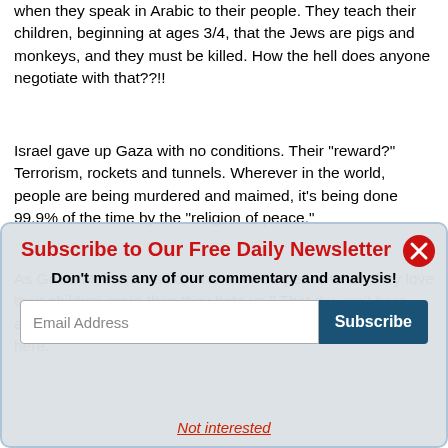when they speak in Arabic to their people. They teach their children, beginning at ages 3/4, that the Jews are pigs and monkeys, and they must be killed. How the hell does anyone negotiate with that??!!
Israel gave up Gaza with no conditions. Their "reward?" Terrorism, rockets and tunnels. Wherever in the world, people are being murdered and maimed, it's being done 99.9% of the time by the "religion of peace."
As Golda Meir once said, "there will be peace when they love their children more than they hate us." That day isn't here, and may well not here in the lifetimes of any the posters here.
Subscribe to Our Free Daily Newsletter
Don't miss any of our commentary and analysis!
Email Address
Subscribe
Not interested